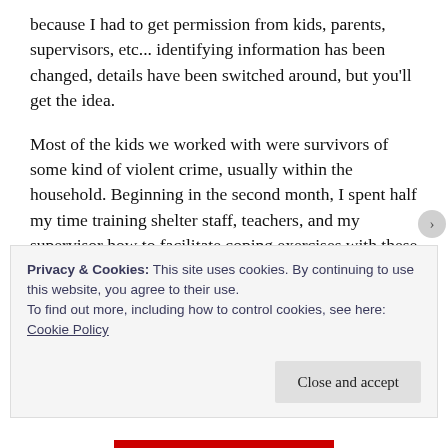because I had to get permission from kids, parents, supervisors, etc... identifying information has been changed, details have been switched around, but you'll get the idea.
Most of the kids we worked with were survivors of some kind of violent crime, usually within the household. Beginning in the second month, I spent half my time training shelter staff, teachers, and my supervisor how to facilitate coping exercises with these kids, and the other half of my time doing actual clinical work with them.
Privacy & Cookies: This site uses cookies. By continuing to use this website, you agree to their use.
To find out more, including how to control cookies, see here: Cookie Policy
Close and accept